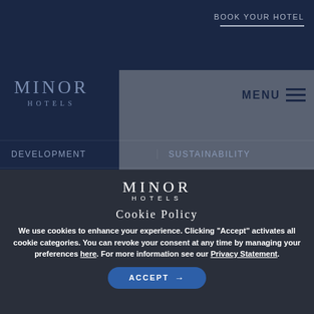BOOK YOUR HOTEL
[Figure (logo): Minor Hotels logo in dark blue navigation panel]
MENU
DEVELOPMENT
SUSTAINABILITY
LOYALTY
PARTNERS
CAREERS
MEDIA
NEWS
AWARDS
[Figure (logo): Minor Hotels logo centered in white on dark overlay]
Cookie Policy
We use cookies to enhance your experience. Clicking "Accept" activates all cookie categories. You can revoke your consent at any time by managing your preferences here. For more information see our Privacy Statement.
ACCEPT →